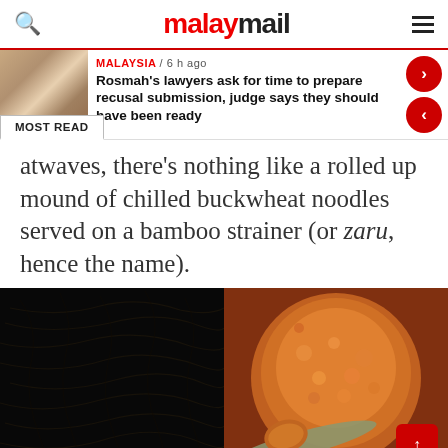malaymail
MALAYSIA / 6 h ago
Rosmah's lawyers ask for time to prepare recusal submission, judge says they should have been ready
MOST READ
atwaves, there's nothing like a rolled up mound of chilled buckwheat noodles served on a bamboo strainer (or zaru, hence the name).
[Figure (photo): Two food photos side by side: left shows dark buckwheat noodles, right shows orange spiced mixture in a bowl with a spoon]
[Figure (photo): Scroll to top red button overlay on right photo]